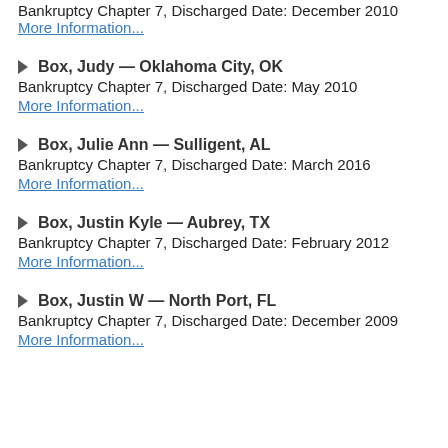Bankruptcy Chapter 7, Discharged Date: December 2010
More Information...
▷ Box, Judy — Oklahoma City, OK
Bankruptcy Chapter 7, Discharged Date: May 2010
More Information...
▷ Box, Julie Ann — Sulligent, AL
Bankruptcy Chapter 7, Discharged Date: March 2016
More Information...
▷ Box, Justin Kyle — Aubrey, TX
Bankruptcy Chapter 7, Discharged Date: February 2012
More Information...
▷ Box, Justin W — North Port, FL
Bankruptcy Chapter 7, Discharged Date: December 2009
More Information...